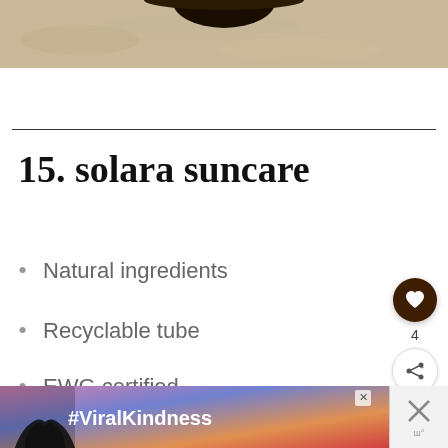[Figure (photo): Top portion of a photo showing sand texture with a dark circular/oval object (sunhat or similar) at the top center]
15. solara suncare
Natural ingredients
Recyclable tube
EWG certified (partial, cut off)
[Figure (photo): Advertisement banner at bottom showing silhouette of hands forming a heart shape against a colorful sunset background with text #ViralKindness]